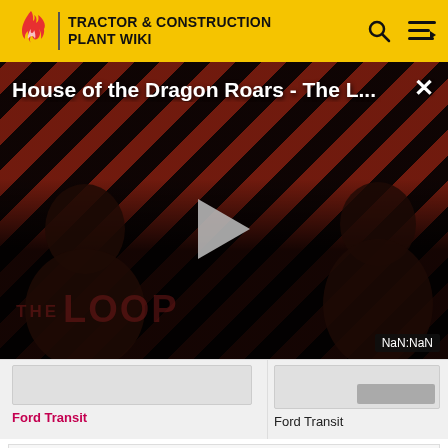TRACTOR & CONSTRUCTION PLANT WIKI
[Figure (screenshot): Video player overlay showing 'House of the Dragon Roars - The L...' with play button, striped background, THE LOOP branding, and NaN:NaN timestamp]
Ford Transit
Ford Transit
This page uses some content from Wikipedia. The original article was at Otosan. The list of authors